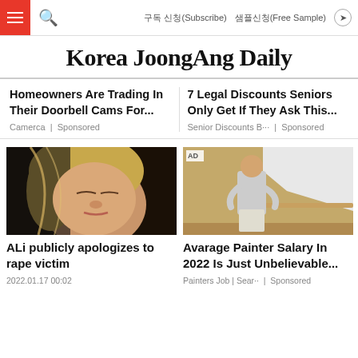Korea JoongAng Daily — navigation bar with hamburger menu, search, 구독 신청(Subscribe), 샘플신청(Free Sample), share
Korea JoongAng Daily
Homeowners Are Trading In Their Doorbell Cams For...
Camerca | Sponsored
7 Legal Discounts Seniors Only Get If They Ask This...
Senior Discounts B··· | Sponsored
[Figure (photo): Woman with blonde hair, eyes closed, appears to be crying]
ALi publicly apologizes to rape victim
2022.01.17 00:02
[Figure (photo): Man in grey shirt painting a wall white, seen from behind, AD badge visible]
Avarage Painter Salary In 2022 Is Just Unbelievable...
Painters Job | Sear·· | Sponsored